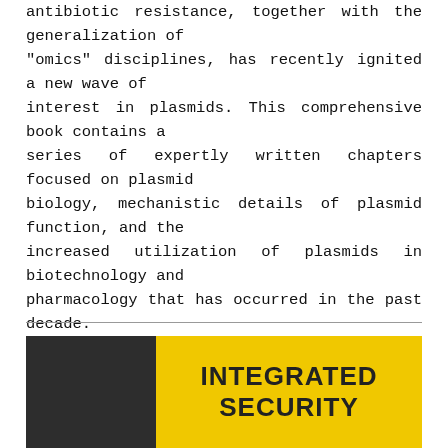antibiotic resistance, together with the generalization of "omics" disciplines, has recently ignited a new wave of interest in plasmids. This comprehensive book contains a series of expertly written chapters focused on plasmid biology, mechanistic details of plasmid function, and the increased utilization of plasmids in biotechnology and pharmacology that has occurred in the past decade. Plasmids: Biology and Impact in Biotechnology and Discovery serves as an invaluable reference for researchers in the wide range of fields and disciplines that utilize plasmids and can also be used as a textbook for upper-level undergraduate and graduate courses in biotechnology and molecular biology.
[Figure (illustration): Book cover showing dark left panel and yellow right panel with bold text 'INTEGRATED SECURITY']